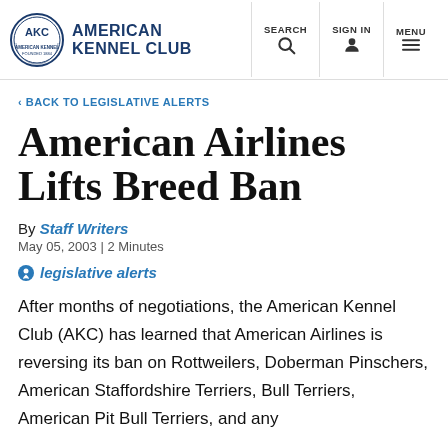American Kennel Club — SEARCH | SIGN IN | MENU
‹ BACK TO LEGISLATIVE ALERTS
American Airlines Lifts Breed Ban
By Staff Writers
May 05, 2003 | 2 Minutes
legislative alerts
After months of negotiations, the American Kennel Club (AKC) has learned that American Airlines is reversing its ban on Rottweilers, Doberman Pinschers, American Staffordshire Terriers, Bull Terriers, American Pit Bull Terriers, and any